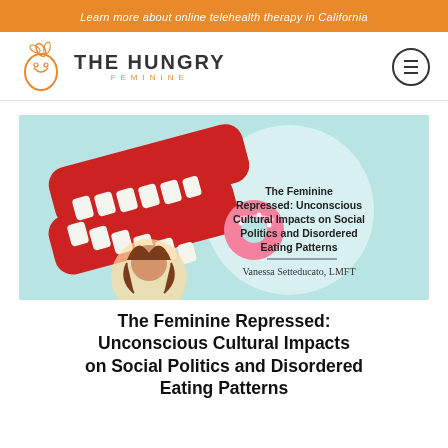Learn more about online telehealth therapy in California
[Figure (logo): The Hungry Feminine logo with stylized face illustration and hamburger menu icon]
[Figure (photo): Featured article image showing wind-up chattering teeth toy biting a pink donut, on light blue background, with article title overlay: 'The Feminine Repressed: Unconscious Cultural Impacts on Social Politics and Disordered Eating Patterns' and author name 'Vanessa Setteducato, LMFT']
The Feminine Repressed: Unconscious Cultural Impacts on Social Politics and Disordered Eating Patterns